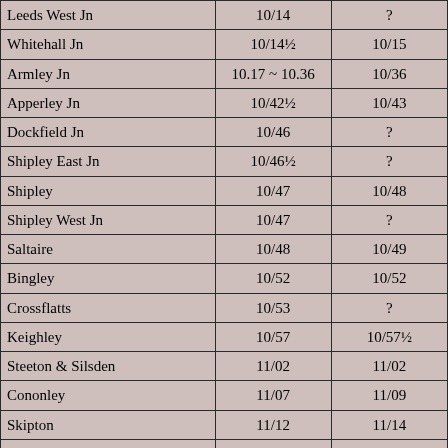| Leeds West Jn | 10/14 | ? |
| Whitehall Jn | 10/14½ | 10/15 |
| Armley Jn | 10.17 ~ 10.36 | 10/36 |
| Apperley Jn | 10/42½ | 10/43 |
| Dockfield Jn | 10/46 | ? |
| Shipley East Jn | 10/46½ | ? |
| Shipley | 10/47 | 10/48 |
| Shipley West Jn | 10/47 | ? |
| Saltaire | 10/48 | 10/49 |
| Bingley | 10/52 | 10/52 |
| Crossflatts | 10/53 | ? |
| Keighley | 10/57 | 10/57½ |
| Steeton & Silsden | 11/02 | 11/02 |
| Cononley | 11/07 | 11/09 |
| Skipton | 11/12 | 11/14 |
| Gargrave | 11/16½ | ? |
| Hellifield | 11/23½ | 11/32 |
| Long Preston | 11/25 | ? |
| Settle Jn | 11/27 | 11/35 |